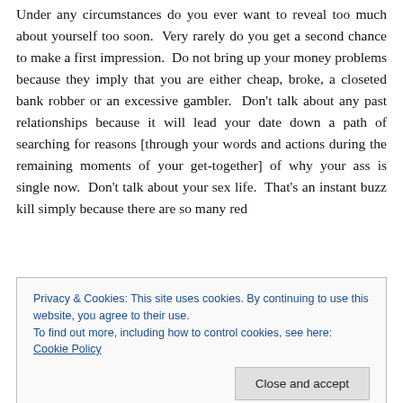Under any circumstances do you ever want to reveal too much about yourself too soon. Very rarely do you get a second chance to make a first impression. Do not bring up your money problems because they imply that you are either cheap, broke, a closeted bank robber or an excessive gambler. Don't talk about any past relationships because it will lead your date down a path of searching for reasons [through your words and actions during the remaining moments of your get-together] of why your ass is single now. Don't talk about your sex life. That's an instant buzz kill simply because there are so many red
Privacy & Cookies: This site uses cookies. By continuing to use this website, you agree to their use.
To find out more, including how to control cookies, see here: Cookie Policy
Close and accept
make sure it isn't until the liquor bottle is half empty that